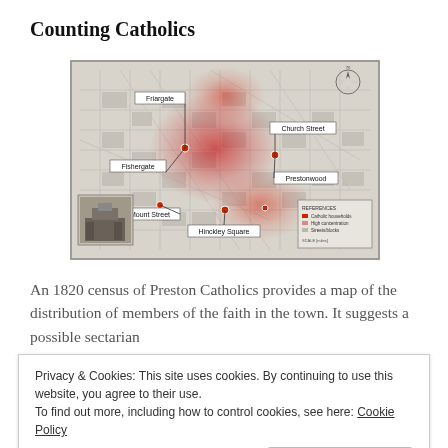Counting Catholics
[Figure (map): An 1820 census map of Preston showing distribution of Catholics across the town. Red heat-map overlay indicates concentration of Catholic residents. Labels indicate: Friargate, Fishergate, Church Street, Prestonwood, Mount Street, Hinckley Square. Compass rose visible in upper right corner. Small inset photograph in lower left corner.]
An 1820 census of Preston Catholics provides a map of the distribution of members of the faith in the town. It suggests a possible sectarian
Privacy & Cookies: This site uses cookies. By continuing to use this website, you agree to their use.
To find out more, including how to control cookies, see here: Cookie Policy
Close and accept
records in the census.